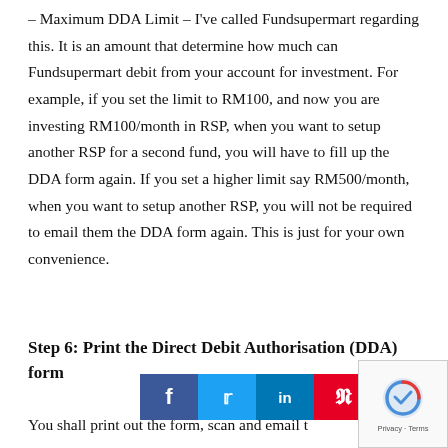– Maximum DDA Limit – I've called Fundsupermart regarding this. It is an amount that determine how much can Fundsupermart debit from your account for investment. For example, if you set the limit to RM100, and now you are investing RM100/month in RSP, when you want to setup another RSP for a second fund, you will have to fill up the DDA form again. If you set a higher limit say RM500/month, when you want to setup another RSP, you will not be required to email them the DDA form again. This is just for your own convenience.
Step 6: Print the Direct Debit Authorisation (DDA) form
You shall print out the form, scan and email t